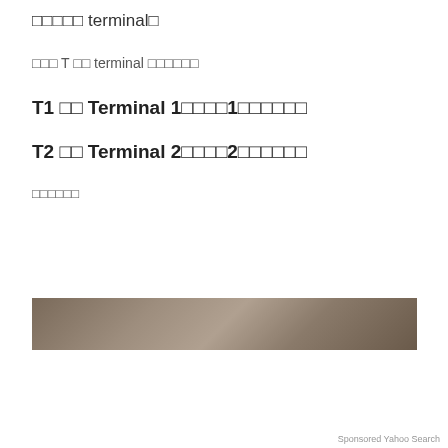□□□□□ terminal□
□□□ T □□ terminal □□□□□□
T1 □□ Terminal 1□□□□1□□□□□□
T2 □□ Terminal 2□□□□2□□□□□□
□□□□□□
[Figure (photo): Partial image of a wooden floor or ceiling surface]
[Figure (screenshot): Advertisement popup: image of a gloved hand cleaning a wooden floor, with text 'Search for natural hardwood floor cleaner' in blue, labeled 'Sponsored Yahoo Search']